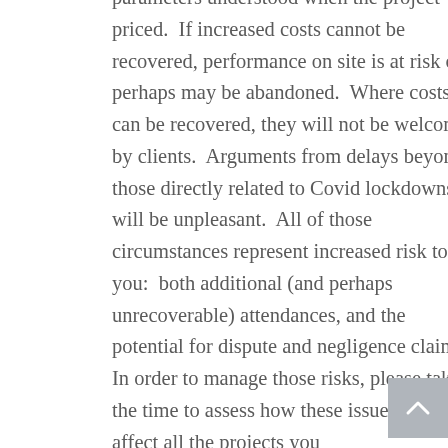parameters understood when the project was priced.  If increased costs cannot be recovered, performance on site is at risk or perhaps may be abandoned.  Where costs can be recovered, they will not be welcomed by clients.  Arguments from delays beyond those directly related to Covid lockdowns will be unpleasant.  All of those circumstances represent increased risk to you:  both additional (and perhaps unrecoverable) attendances, and the potential for dispute and negligence claims. In order to manage those risks, please take the time to assess how these issues will affect all the projects you